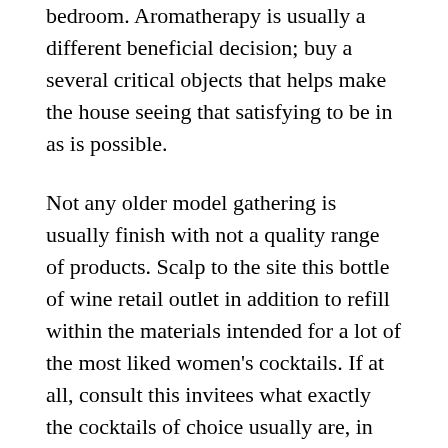bedroom. Aromatherapy is usually a different beneficial decision; buy a several critical objects that helps make the house seeing that satisfying to be in as is possible.
Not any older model gathering is usually finish with not a quality range of products. Scalp to the site this bottle of wine retail outlet in addition to refill within the materials intended for a lot of the most liked women's cocktails. If at all, consult this invitees what exactly the cocktails of choice usually are, in addition to you should definitely include the many important fixings. A bottle of champagne is usually a superb slip returning, and so acquire some low-priced wines to help cross all around. Bear in mind many women of all ages may perhaps desire non-alcoholic cocktails; look at arranging many smoothies or maybe different fruity cocktails for him or her. Eventually, you should definitely